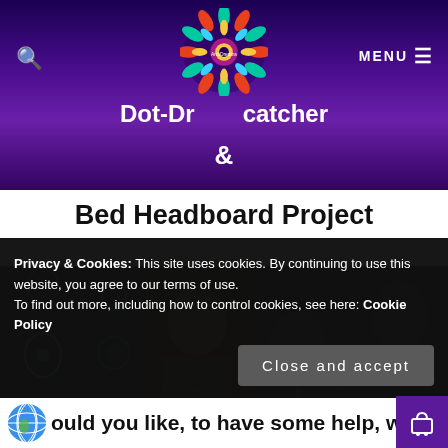Dot-Dreamcatcher & Bed Headboard Project
Bed Headboard Project
[Figure (photo): Gallery strip of dreamcatcher and bed headboard project photos showing artist working on dot-painting project]
Privacy & Cookies: This site uses cookies. By continuing to use this website, you agree to our terms of use.
To find out more, including how to control cookies, see here: Cookie Policy
Close and accept
Would you like, to have some help, with decorating your walk?